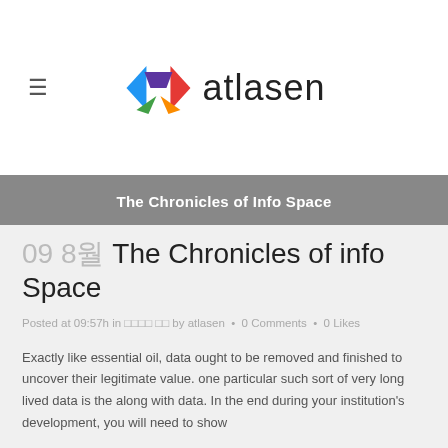≡  atlasen
The Chronicles of Info Space
09 8월 The Chronicles of info Space
Posted at 09:57h in 블로그 자료 by atlasen • 0 Comments • 0 Likes
Exactly like essential oil, data ought to be removed and finished to uncover their legitimate value. one particular such sort of very long lived data is the along with data. In the end during your institution's development, you will need to show